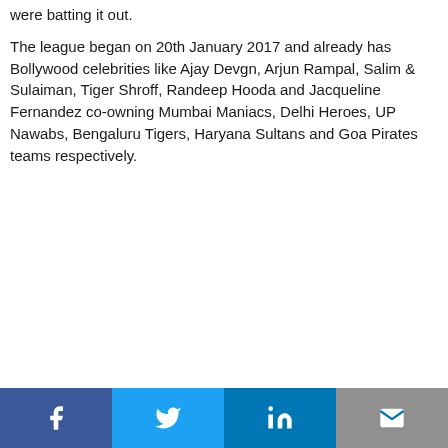were batting it out.
The league began on 20th January 2017 and already has Bollywood celebrities like Ajay Devgn, Arjun Rampal, Salim & Sulaiman, Tiger Shroff, Randeep Hooda and Jacqueline Fernandez co-owning Mumbai Maniacs, Delhi Heroes, UP Nawabs, Bengaluru Tigers, Haryana Sultans and Goa Pirates teams respectively.
Facebook | Twitter | LinkedIn | Email